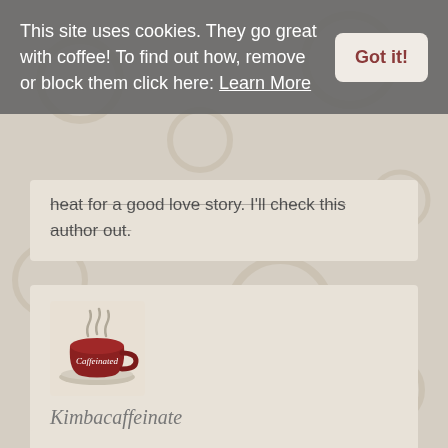This site uses cookies. They go great with coffee! To find out how, remove or block them click here: Learn More
Got it!
heat for a good love story. I'll check this author out.
[Figure (illustration): Caffeinated coffee cup logo - dark red/maroon cup with steam and the word 'Caffeinated' in white text]
Kimbacaffeinate
May 22nd, 2015
I agree. I love weaving in these small-town, feel good romances into my tbr pile